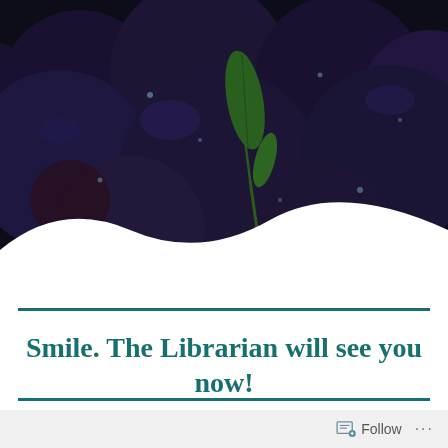[Figure (photo): Close-up photo of dark purple plums with a green leaf and water droplets, dark moody background]
Smile. The Librarian will see you now!
Follow ...